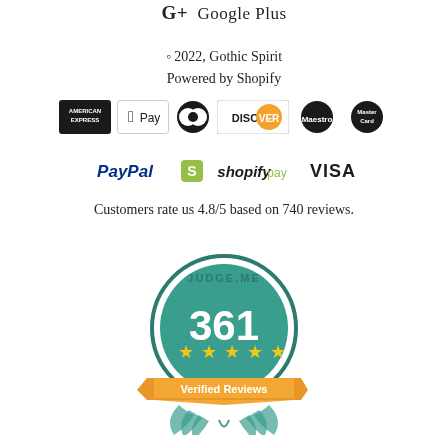G+ Google Plus
© 2022, Gothic Spirit
Powered by Shopify
[Figure (infographic): Payment method logos: American Express, Apple Pay, Diners Club, Discover, Maestro, MasterCard, PayPal, Shopify Pay, VISA]
Customers rate us 4.8/5 based on 740 reviews.
[Figure (infographic): Judge.me badge showing 361 verified reviews with 5 stars]